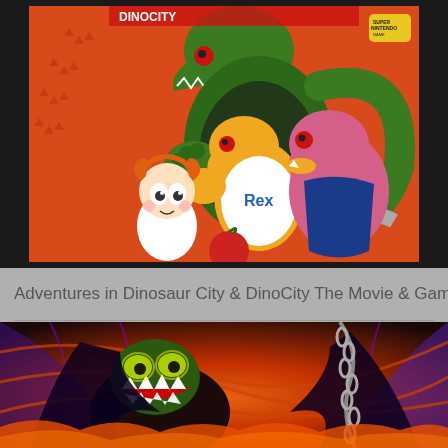[Figure (illustration): DinoCity SNES game cover art showing cartoon dinosaur characters on an orange background with manga-style art. Characters include a large green T-rex, a smaller yellow dinosaur wearing a 'Rex' jersey, a pink dinosaur, a girl with orange hair, and a blue-armored dinosaur. Super Nintendo logo badge visible in top right corner.]
Adventures in Dinosaur City & DinoCity The Movie & Game
[Figure (illustration): Dark comic book style artwork featuring a monstrous creature with sharp teeth and claws against a fiery orange and purple background with dramatic swirling lines and chains.]